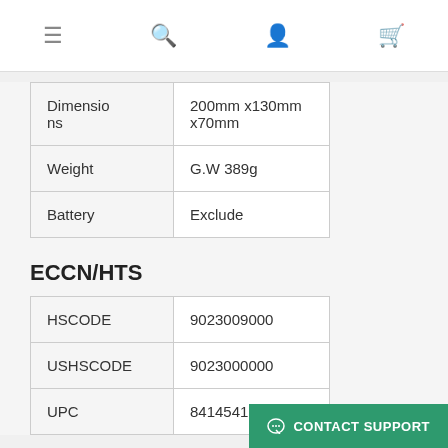Navigation bar with menu, search, account, and cart icons
| Property | Value |
| --- | --- |
| Dimensions | 200mm x130mm x70mm |
| Weight | G.W 389g |
| Battery | Exclude |
ECCN/HTS
| Code Type | Value |
| --- | --- |
| HSCODE | 9023009000 |
| USHSCODE | 9023000000 |
| UPC | 841454117872 |